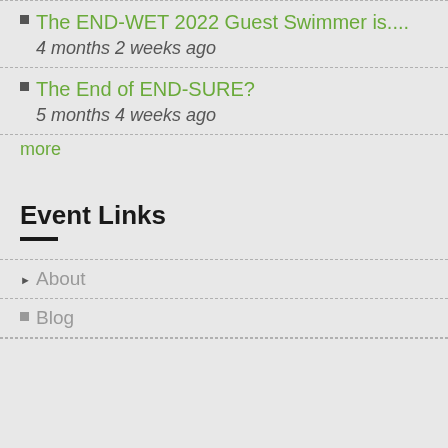The END-WET 2022 Guest Swimmer is.... 4 months 2 weeks ago
The End of END-SURE? 5 months 4 weeks ago
more
Event Links
About
Blog